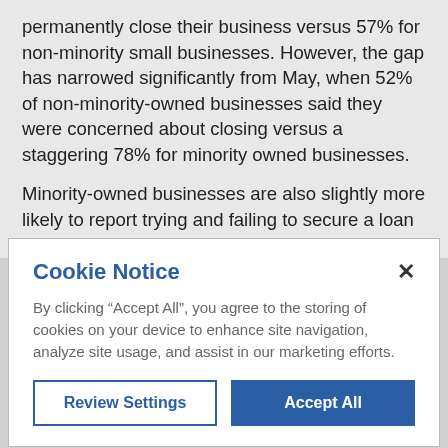permanently close their business versus 57% for non-minority small businesses. However, the gap has narrowed significantly from May, when 52% of non-minority-owned businesses said they were concerned about closing versus a staggering 78% for minority owned businesses.
Minority-owned businesses are also slightly more likely to report trying and failing to secure a loan to help survive the economic turmoil (13% versus 8% of non-minority businesses) linked to the coronavirus.
[Figure (screenshot): Cookie Notice dialog box with title 'Cookie Notice', close button (×), body text about accepting cookies, and two buttons: 'Review Settings' (outlined) and 'Accept All' (filled blue).]